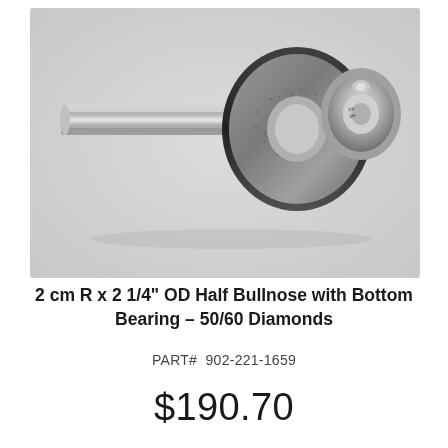[Figure (photo): A diamond router bit — a cylindrical metal shank extends to the left, attached to a circular grinding wheel with a half-bullnose profile coated in diamond abrasive grit. A bearing is visible on the right side of the wheel. The tool is photographed against a light gray background.]
2 cm R x 2 1/4" OD Half Bullnose with Bottom Bearing – 50/60 Diamonds
PART#  902-221-1659
$190.70